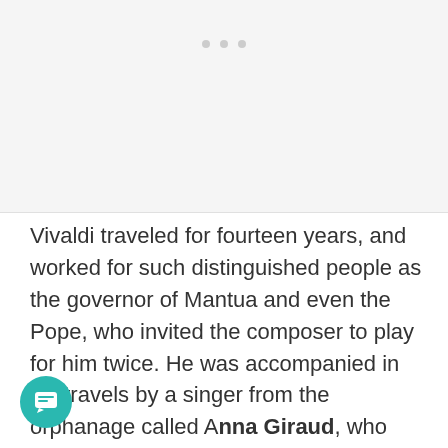[Figure (photo): Blank/placeholder image area with three light gray dots at top center indicating a loading or carousel indicator]
Vivaldi traveled for fourteen years, and worked for such distinguished people as the governor of Mantua and even the Pope, who invited the composer to play for him twice. He was accompanied in his travels by a singer from the orphanage called Anna Giraud, who putedly was a better actress than a singer. As the composer was a priest, this caused a great